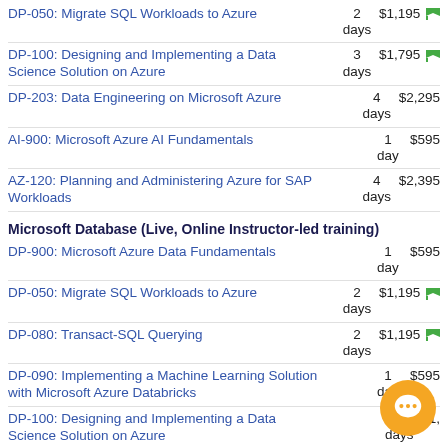DP-050: Migrate SQL Workloads to Azure | 2 days | $1,195
DP-100: Designing and Implementing a Data Science Solution on Azure | 3 days | $1,795
DP-203: Data Engineering on Microsoft Azure | 4 days | $2,295
AI-900: Microsoft Azure AI Fundamentals | 1 day | $595
AZ-120: Planning and Administering Azure for SAP Workloads | 4 days | $2,395
Microsoft Database (Live, Online Instructor-led training)
DP-900: Microsoft Azure Data Fundamentals | 1 day | $595
DP-050: Migrate SQL Workloads to Azure | 2 days | $1,195
DP-080: Transact-SQL Querying | 2 days | $1,195
DP-090: Implementing a Machine Learning Solution with Microsoft Azure Databricks | 1 day | $595
DP-100: Designing and Implementing a Data Science Solution on Azure | 3 days | $1,...